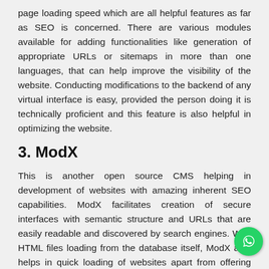page loading speed which are all helpful features as far as SEO is concerned. There are various modules available for adding functionalities like generation of appropriate URLs or sitemaps in more than one languages, that can help improve the visibility of the website. Conducting modifications to the backend of any virtual interface is easy, provided the person doing it is technically proficient and this feature is also helpful in optimizing the website.
3. ModX
This is another open source CMS helping in development of websites with amazing inherent SEO capabilities. ModX facilitates creation of secure interfaces with semantic structure and URLs that are easily readable and discovered by search engines. With HTML files loading from the database itself, ModX also helps in quick loading of websites apart from offering facilities for easy modification of meta tags and page titles. The platform is extremely simple in nature with a developer using HTML in addition to the custom variables needed for the project. It gives comp control to a user over every aspect of the interface and as